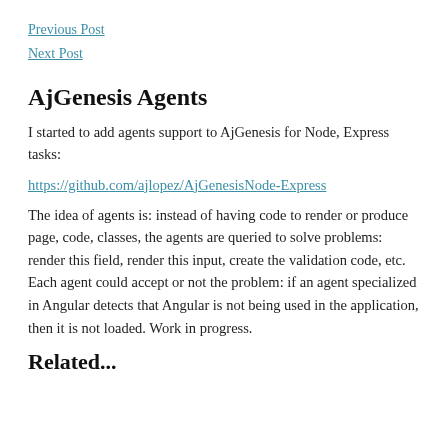Previous Post
Next Post
AjGenesis Agents
I started to add agents support to AjGenesis for Node, Express tasks:
https://github.com/ajlopez/AjGenesisNode-Express
The idea of agents is: instead of having code to render or produce page, code, classes, the agents are queried to solve problems: render this field, render this input, create the validation code, etc. Each agent could accept or not the problem: if an agent specialized in Angular detects that Angular is not being used in the application, then it is not loaded. Work in progress.
Related...